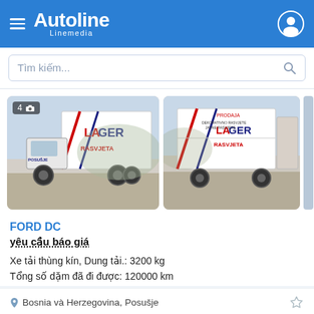Autoline Linemedia
Tìm kiếm...
[Figure (photo): Two photos of a white Ford DC box truck with 'LAGER RASVJETA' branding on the side, parked on gravel. Left photo shows front-left view; right photo shows rear-left view.]
FORD DC
yêu cầu báo giá
Xe tải thùng kín, Dung tải.: 3200 kg
Tổng số dặm đã đi được: 120000 km
Bosnia và Herzegovina, Posušje